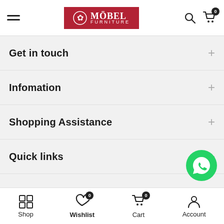Möbel Furniture – navigation header with hamburger menu, logo, search and cart icons
Get in touch
Infomation
Shopping Assistance
Quick links
[Figure (logo): WhatsApp contact button (green circle with WhatsApp logo)]
Shop | Wishlist (0) | Cart (0) | Account – bottom navigation bar